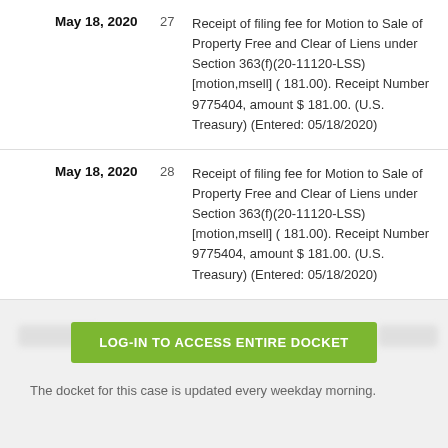| Date | No. | Description |
| --- | --- | --- |
| May 18, 2020 | 27 | Receipt of filing fee for Motion to Sale of Property Free and Clear of Liens under Section 363(f)(20-11120-LSS) [motion,msell] ( 181.00). Receipt Number 9775404, amount $ 181.00. (U.S. Treasury) (Entered: 05/18/2020) |
| May 18, 2020 | 28 | Receipt of filing fee for Motion to Sale of Property Free and Clear of Liens under Section 363(f)(20-11120-LSS) [motion,msell] ( 181.00). Receipt Number 9775404, amount $ 181.00. (U.S. Treasury) (Entered: 05/18/2020) |
LOG-IN TO ACCESS ENTIRE DOCKET
The docket for this case is updated every weekday morning.